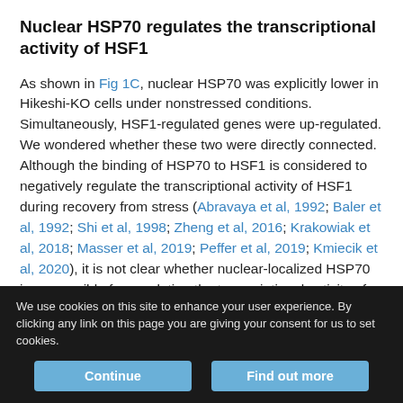Nuclear HSP70 regulates the transcriptional activity of HSF1
As shown in Fig 1C, nuclear HSP70 was explicitly lower in Hikeshi-KO cells under nonstressed conditions. Simultaneously, HSF1-regulated genes were up-regulated. We wondered whether these two were directly connected. Although the binding of HSP70 to HSF1 is considered to negatively regulate the transcriptional activity of HSF1 during recovery from stress (Abravaya et al, 1992; Baler et al, 1992; Shi et al, 1998; Zheng et al, 2016; Krakowiak et al, 2018; Masser et al, 2019; Peffer et al, 2019; Kmiecik et al, 2020), it is not clear whether nuclear-localized HSP70 is responsible for regulating the transcriptional activity of HSF1 under
We use cookies on this site to enhance your user experience. By clicking any link on this page you are giving your consent for us to set cookies.